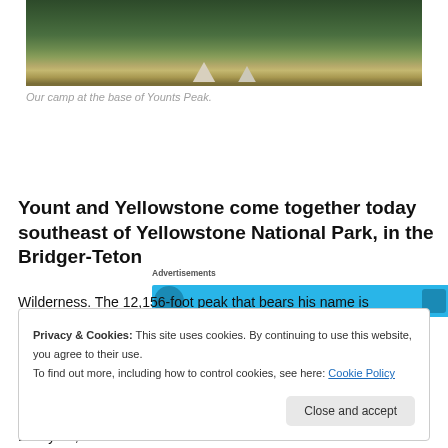[Figure (photo): Photograph of two canvas tents at a campsite with tall evergreen trees in the background, meadow grasses in the foreground.]
Our camp at the base of Younts Peak.
[Figure (screenshot): Advertisements banner with a blue background showing a Twitter-style advertisement.]
Yount and Yellowstone come together today southeast of Yellowstone National Park, in the Bridger-Teton
Wilderness. The 12,156-foot peak that bears his name is
Privacy & Cookies: This site uses cookies. By continuing to use this website, you agree to their use.
To find out more, including how to control cookies, see here: Cookie Policy
Last year, Jane and I found the trail of those words as we